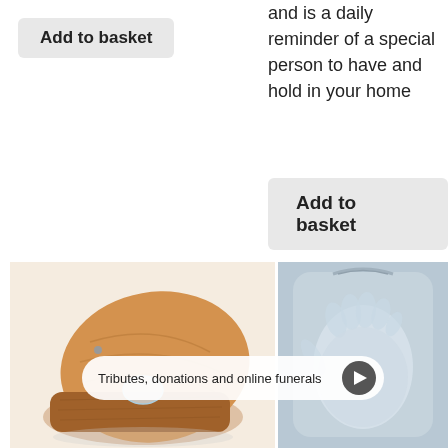and is a daily reminder of a special person to have and hold in your home
Add to basket
Add to basket
[Figure (photo): Wooden heart-shaped box with glass vial inside, open lid showing interior]
[Figure (photo): Blue-grey fabric bag with an embossed or printed hand/footprint impression]
Tributes, donations and online funerals